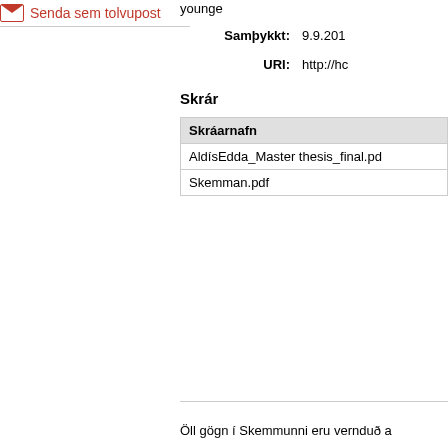Senda sem tolvupost
younger
Samþykkt: 9.9.201
URI: http://hc
Skrár
| Skráarnafn |
| --- |
| AldísEdda_Master thesis_final.pd |
| Skemman.pdf |
Öll gögn í Skemmunni eru vernduð a